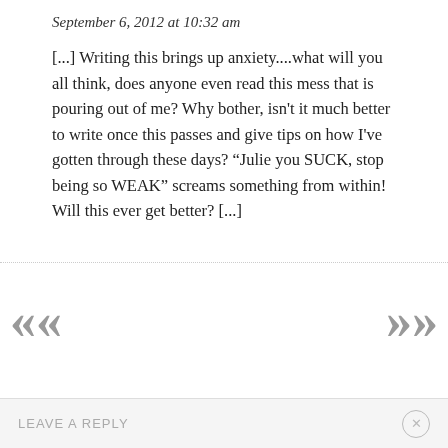September 6, 2012 at 10:32 am
[...] Writing this brings up anxiety....what will you all think, does anyone even read this mess that is pouring out of me? Why bother, isn't it much better to write once this passes and give tips on how I've gotten through these days? “Julie you SUCK, stop being so WEAK” screams something from within! Will this ever get better? [...]
Reply
LEAVE A REPLY